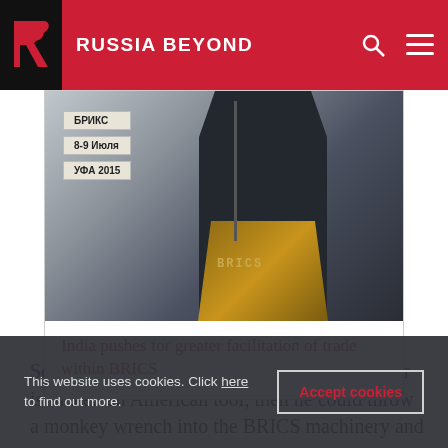RUSSIA BEYOND
[Figure (photo): Photo of a person at a BRICS podium, with signs reading БРИКС 8-9 Июля УФА 2015 in the background]
India pushes for greater facilitation of trade within BRICS
So how does that concern the BRICS? If Temer is indeed an American tool, then he could throw a monkey wrench into the BRICS machinery and
This website uses cookies. Click here to find out more.
Accept cookies